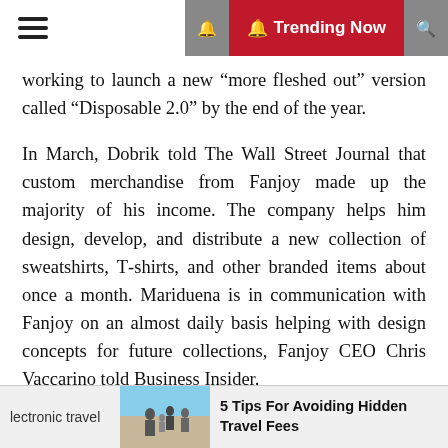Trending Now
working to launch a new “more fleshed out” version called “Disposable 2.0” by the end of the year.
In March, Dobrik told The Wall Street Journal that custom merchandise from Fanjoy made up the majority of his income. The company helps him design, develop, and distribute a new collection of sweatshirts, T-shirts, and other branded items about once a month. Mariduena is in communication with Fanjoy on an almost daily basis helping with design concepts for future collections, Fanjoy CEO Chris Vaccarino told Business Insider.
“For me specifically, I love fashion and I love clothing,” Mariduena said. “That’s what translates into my relationship with Fanjoy, and why I’m so hands-on there is because I genuinely love it and think it’s so fun to see someone out that’s wearing a design that I came up
lectronic travel   5 Tips For Avoiding Hidden Travel Fees